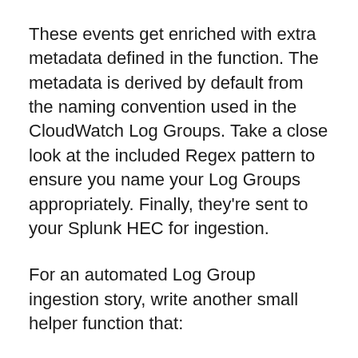These events get enriched with extra metadata defined in the function. The metadata is derived by default from the naming convention used in the CloudWatch Log Groups. Take a close look at the included Regex pattern to ensure you name your Log Groups appropriately. Finally, they're sent to your Splunk HEC for ingestion.
For an automated Log Group ingestion story, write another small helper function that:
Looks for Log Groups that are